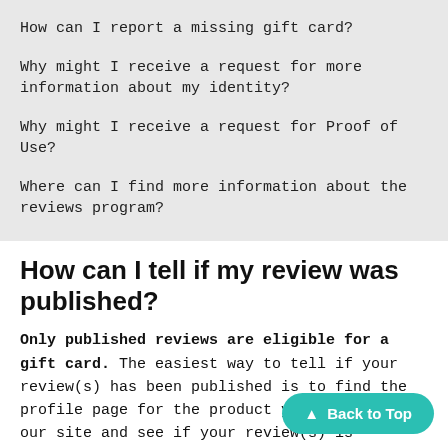How can I report a missing gift card?
Why might I receive a request for more information about my identity?
Why might I receive a request for Proof of Use?
Where can I find more information about the reviews program?
How can I tell if my review was published?
Only published reviews are eligible for a gift card. The easiest way to tell if your review(s) has been published is to find the profile page for the product you reviewed on our site and see if your review(s) is displaying. If it's been less than one week since you submitted your review, please be aware that it may take longer than one week before a submitted review has time to be properly